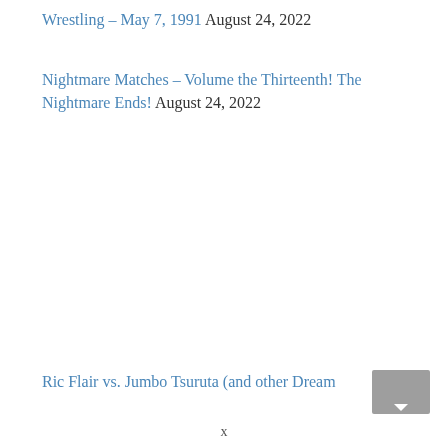Wrestling – May 7, 1991 August 24, 2022
Nightmare Matches – Volume the Thirteenth! The Nightmare Ends! August 24, 2022
Ric Flair vs. Jumbo Tsuruta (and other Dream
[Figure (other): Small grey thumbnail image with a downward arrow indicator at the bottom]
x